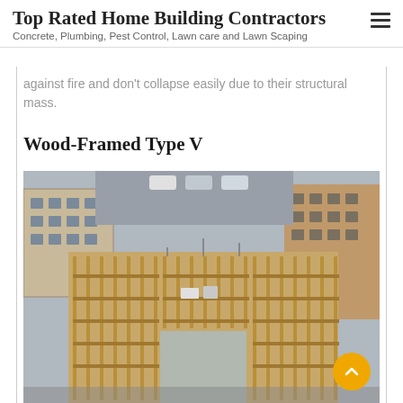Top Rated Home Building Contractors
Concrete, Plumbing, Pest Control, Lawn care and Lawn Scaping
against fire and don't collapse easily due to their structural mass.
Wood-Framed Type V
[Figure (photo): Aerial view of a wood-framed Type V building under construction in an urban setting, surrounded by existing brick buildings. The structure shows exposed wooden framing and studs across multiple floors.]